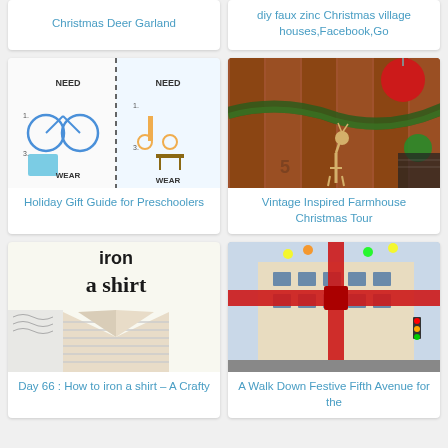Christmas Deer Garland
diy faux zinc Christmas village houses,Facebook,Go
[Figure (photo): Holiday gift guide collage showing toys, bike, tablet, scooter, clothing items for kids]
Holiday Gift Guide for Preschoolers
[Figure (photo): Vintage farmhouse Christmas door decoration with red ornament, pine garland, and deer figurine]
Vintage Inspired Farmhouse Christmas Tour
[Figure (photo): How to iron a shirt tutorial image showing shirt collar and text 'iron a shirt']
Day 66 : How to iron a shirt – A Crafty
[Figure (photo): Building on Fifth Avenue decorated with large red bow and holiday decorations]
A Walk Down Festive Fifth Avenue for the